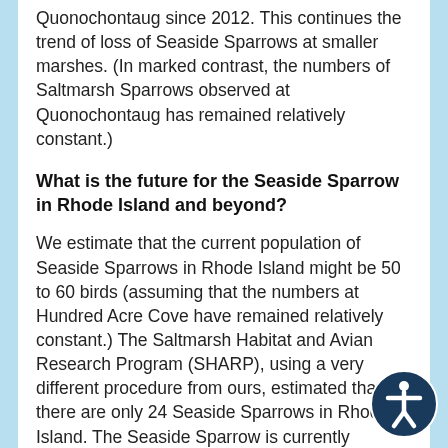Quonochontaug since 2012. This continues the trend of loss of Seaside Sparrows at smaller marshes. (In marked contrast, the numbers of Saltmarsh Sparrows observed at Quonochontaug has remained relatively constant.)
What is the future for the Seaside Sparrow in Rhode Island and beyond?
We estimate that the current population of Seaside Sparrows in Rhode Island might be 50 to 60 birds (assuming that the numbers at Hundred Acre Cove have remained relatively constant.) The Saltmarsh Habitat and Avian Research Program (SHARP), using a very different procedure from ours, estimated that there are only 24 Seaside Sparrows in Rhode Island. The Seaside Sparrow is currently classified in Rhode Island as a species of “Concern” just a step above “Threatened.” Given the population